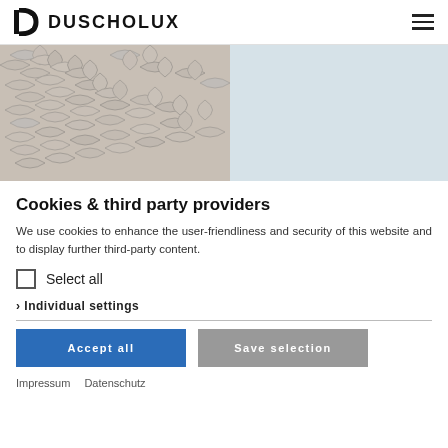DUSCHOLUX
[Figure (photo): Hero image split: left half shows a textured leaf/botanical pattern in grey tones, right half is a plain light blue-grey background]
Cookies & third party providers
We use cookies to enhance the user-friendliness and security of this website and to display further third-party content.
Select all
› Individual settings
Accept all
Save selection
Impressum   Datenschutz